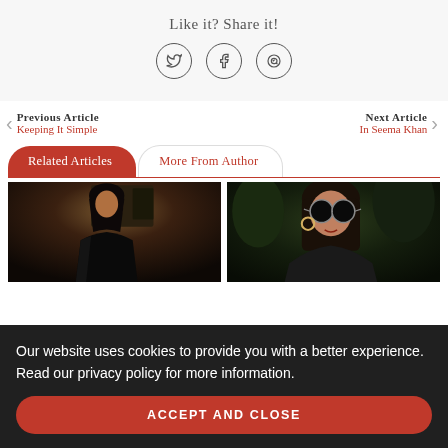Like it? Share it!
[Figure (other): Social share buttons: Twitter, Facebook, WhatsApp icons in circles]
Previous Article
Keeping It Simple
Next Article
In Seema Khan
Related Articles
More From Author
[Figure (photo): Dark-haired woman in black outfit at an event/red carpet]
[Figure (photo): Woman with round sunglasses and hoop earrings]
Our website uses cookies to provide you with a better experience. Read our privacy policy for more information.
ACCEPT AND CLOSE
[Figure (photo): Partial view of bottom article image 1]
[Figure (photo): Partial view of bottom article image 2]